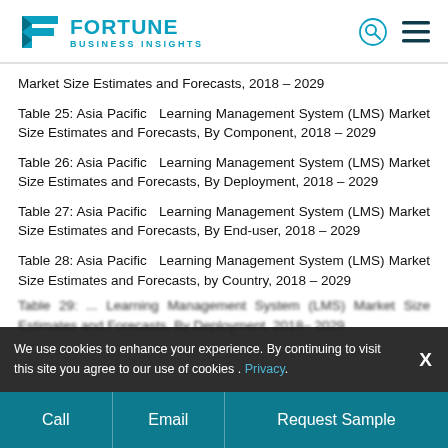Fortune Business Insights
Market Size Estimates and Forecasts, 2018 – 2029
Table 25: Asia Pacific  Learning Management System (LMS) Market Size Estimates and Forecasts, By Component, 2018 – 2029
Table 26: Asia Pacific  Learning Management System (LMS) Market Size Estimates and Forecasts, By Deployment, 2018 – 2029
Table 27: Asia Pacific  Learning Management System (LMS) Market Size Estimates and Forecasts, By End-user, 2018 – 2029
Table 28: Asia Pacific  Learning Management System (LMS) Market Size Estimates and Forecasts, by Country, 2018 – 2029
We use cookies to enhance your experience. By continuing to visit this site you agree to our use of cookies . Privacy. X
Call  Email  Request Sample